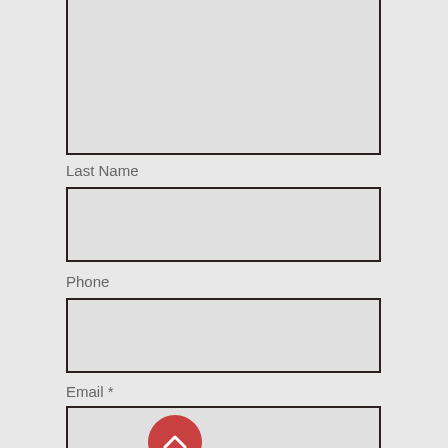[Figure (screenshot): A web form with input fields for Last Name, Phone, Email (required), and Add a message, with a red scroll-to-top button overlapping the Email input field.]
Last Name
Phone
Email *
Add a message